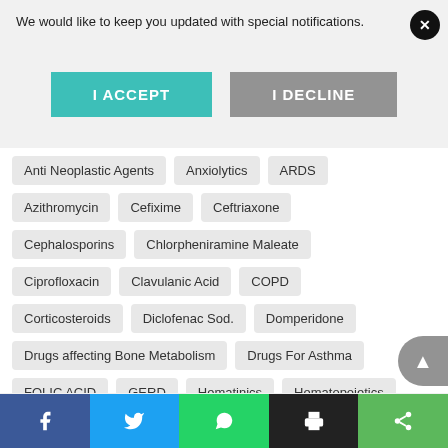We would like to keep you updated with special notifications.
I ACCEPT
I DECLINE
Anti Neoplastic Agents
Anxiolytics
ARDS
Azithromycin
Cefixime
Ceftriaxone
Cephalosporins
Chlorpheniramine Maleate
Ciprofloxacin
Clavulanic Acid
COPD
Corticosteroids
Diclofenac Sod.
Domperidone
Drugs affecting Bone Metabolism
Drugs For Asthma
FOLIC ACID
GERD
Hematinics
Hematopoietics
Insulin
Lactobacillus
Macrolides
Menthol
Metformin
Minerals
N.I.
Nimesulide
Ofloxacin